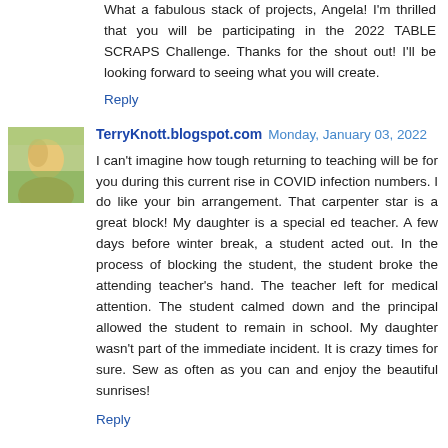What a fabulous stack of projects, Angela! I'm thrilled that you will be participating in the 2022 TABLE SCRAPS Challenge. Thanks for the shout out! I'll be looking forward to seeing what you will create.
Reply
[Figure (photo): Small avatar photo of a woman with blonde hair against a bright background]
TerryKnott.blogspot.com  Monday, January 03, 2022
I can't imagine how tough returning to teaching will be for you during this current rise in COVID infection numbers. I do like your bin arrangement. That carpenter star is a great block! My daughter is a special ed teacher. A few days before winter break, a student acted out. In the process of blocking the student, the student broke the attending teacher's hand. The teacher left for medical attention. The student calmed down and the principal allowed the student to remain in school. My daughter wasn't part of the immediate incident. It is crazy times for sure. Sew as often as you can and enjoy the beautiful sunrises!
Reply